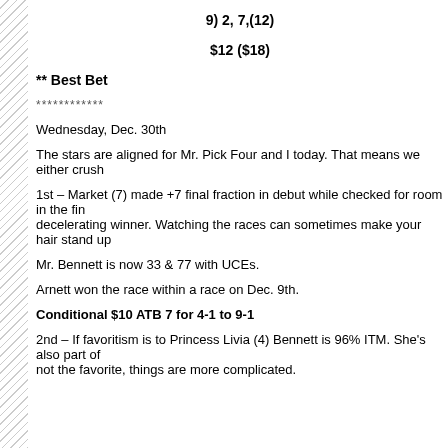9) 2, 7,(12)
$12 ($18)
** Best Bet
************
Wednesday, Dec. 30th
The stars are aligned for Mr. Pick Four and I today. That means we either crush
1st – Market (7) made +7 final fraction in debut while checked for room in the fin decelerating winner. Watching the races can sometimes make your hair stand up
Mr. Bennett is now 33 & 77 with UCEs.
Arnett won the race within a race on Dec. 9th.
Conditional $10 ATB 7 for 4-1 to 9-1
2nd – If favoritism is to Princess Livia (4) Bennett is 96% ITM. She's also part of not the favorite, things are more complicated.